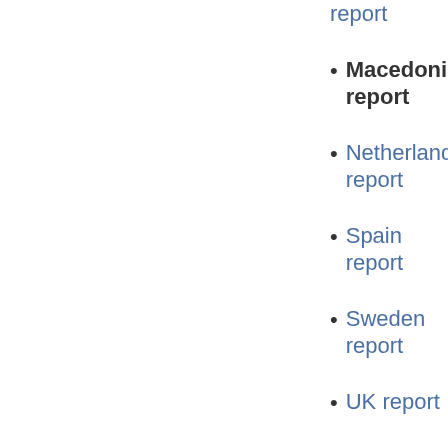report
Macedonia report
Netherlands report
Spain report
Sweden report
UK report
Special